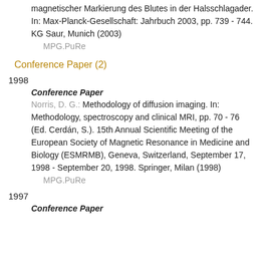magnetischer Markierung des Blutes in der Halsschlagader. In: Max-Planck-Gesellschaft: Jahrbuch 2003, pp. 739 - 744. KG Saur, Munich (2003)
MPG.PuRe
Conference Paper (2)
1998
Conference Paper
Norris, D. G.: Methodology of diffusion imaging. In: Methodology, spectroscopy and clinical MRI, pp. 70 - 76 (Ed. Cerdán, S.). 15th Annual Scientific Meeting of the European Society of Magnetic Resonance in Medicine and Biology (ESMRMB), Geneva, Switzerland, September 17, 1998 - September 20, 1998. Springer, Milan (1998)
MPG.PuRe
1997
Conference Paper